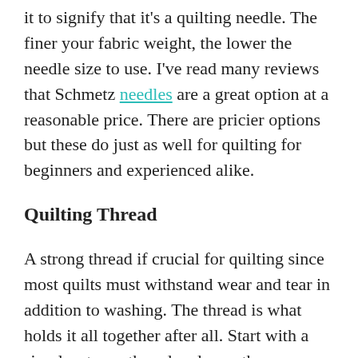it to signify that it's a quilting needle. The finer your fabric weight, the lower the needle size to use. I've read many reviews that Schmetz needles are a great option at a reasonable price. There are pricier options but these do just as well for quilting for beginners and experienced alike.
Quilting Thread
A strong thread if crucial for quilting since most quilts must withstand wear and tear in addition to washing. The thread is what holds it all together after all. Start with a simple, strong thread and save the speciality threads (metallics and transparent threads are harder to work) for later. Here is an example of a good cotton thread for quilting by Aurifil.